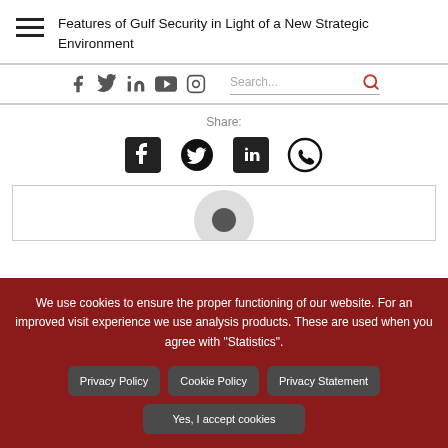Features of Gulf Security in Light of a New Strategic Environment
[Figure (screenshot): Social media icons (Facebook, Twitter, LinkedIn, YouTube, Instagram) and a search bar with red search icon]
Share:
[Figure (screenshot): Share icons: Facebook, Twitter, LinkedIn, WhatsApp]
[Figure (photo): Content box with a grey profile placeholder image partially visible]
We use cookies to ensure the proper functioning of our website. For an improved visit experience we use analysis products. These are used when you agree with "Statistics".
Privacy Policy | Cookie Policy | Privacy Statement | Yes, I accept cookies